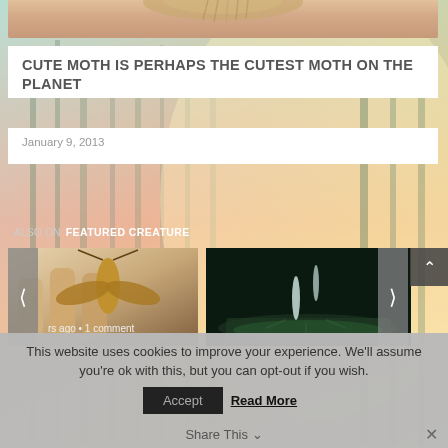[Figure (photo): Close-up photo of a moth on a hand, cropped at top]
CUTE MOTH IS PERHAPS THE CUTEST MOTH ON THE PLANET
January 9, 2013
[Figure (photo): Forest background with sunlight and pink/orange tones]
ALSO ON FEATURED CREATURE
[Figure (photo): Thumbnail: small insect on a hand]
[Figure (photo): Thumbnail: dark background creature on a leaf]
rs ago • 1 comment
This website uses cookies to improve your experience. We'll assume you're ok with this, but you can opt-out if you wish.
Accept
Read More
Share This